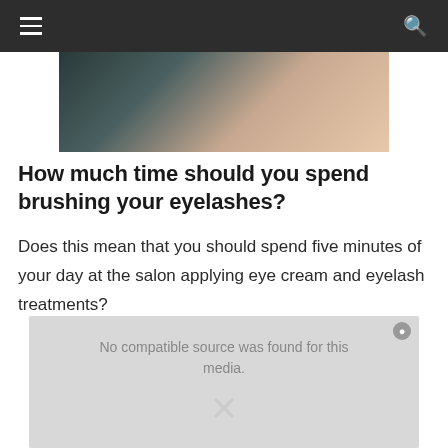Navigation bar with hamburger menu and search icon
[Figure (photo): Close-up photo of a person's eye area and cheek, showing dark eye makeup/lashes and skin tone]
How much time should you spend brushing your eyelashes?
Does this mean that you should spend five minutes of your day at the salon applying eye cream and eyelash treatments?
[Figure (screenshot): Video player overlay with gray background showing 'No compatible source was found for this media.' message and an X close button]